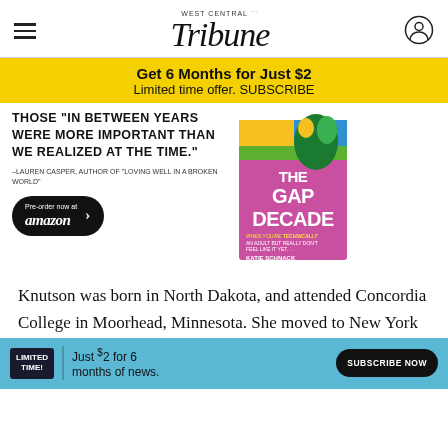West Central Tribune
Get 6 Months for Just $2
Limited time offer. SUBSCRIBE
[Figure (illustration): Book advertisement for 'The Gap Decade' by Katie Schnack with quote: 'Those in between years were more important than we realized at the time.' –Lauren Casper, Author of 'Loving Well in a Broken World'. Pre-order now at amazon button.]
Knutson was born in North Dakota, and attended Concordia College in Moorhead, Minnesota. She moved to New York to become a professional opera singer, but settled down on a farm near Oklee with her h... ss in 1955,... s
LIMITED TIME! Just $2 for 6 months of news. SUBSCRIBE NOW